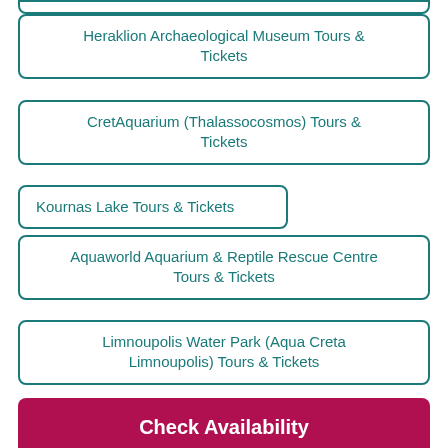Heraklion Archaeological Museum Tours & Tickets
CretAquarium (Thalassocosmos) Tours & Tickets
Kournas Lake Tours & Tickets
Aquaworld Aquarium & Reptile Rescue Centre Tours & Tickets
Limnoupolis Water Park (Aqua Creta Limnoupolis) Tours & Tickets
Malia Tours & Tickets
Check Availability